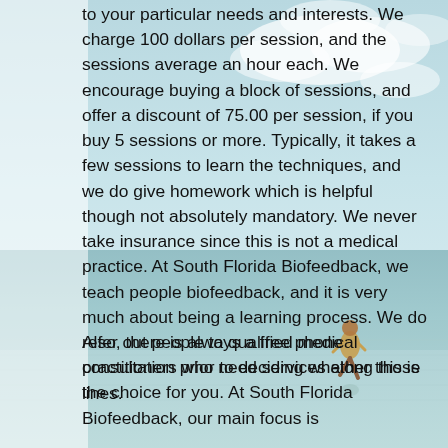[Figure (photo): A person standing in shallow water at a beach with a cloudy sky, serving as a background image behind the text content.]
to your particular needs and interests. We charge 100 dollars per session, and the sessions average an hour each. We encourage buying a block of sessions, and offer a discount of 75.00 per session, if you buy 5 sessions or more. Typically, it takes a few sessions to learn the techniques, and we do give homework which is helpful though not absolutely mandatory. We never take insurance since this is not a medical practice. At South Florida Biofeedback, we teach people biofeedback, and it is very much about being a learning process. We do refer out people to qualified medical practitioners who need services along those lines.
Also, there is always a free phone consultation prior to deciding whether this is the choice for you. At South Florida Biofeedback, our main focus is